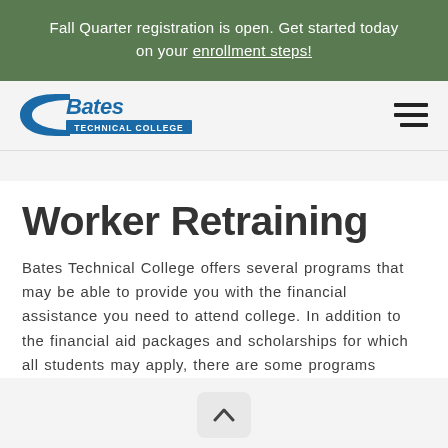Fall Quarter registration is open. Get started today on your enrollment steps!
[Figure (logo): Bates Technical College logo — stylized blue swoosh with 'Bates' in bold italic blue text and 'TECHNICAL COLLEGE' in smaller white text on blue bar]
Worker Retraining
Bates Technical College offers several programs that may be able to provide you with the financial assistance you need to attend college. In addition to the financial aid packages and scholarships for which all students may apply, there are some programs